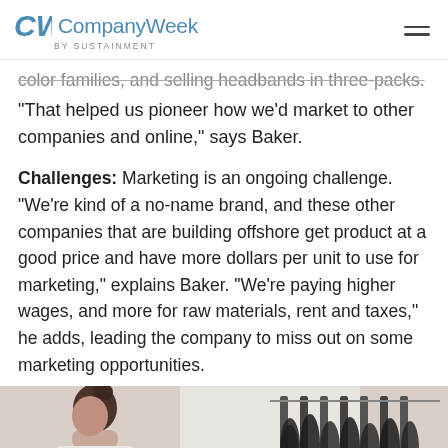CompanyWeek by Sustainment
color families, and selling headbands in three-packs.
"That helped us pioneer how we'd market to other companies and online," says Baker.
Challenges: Marketing is an ongoing challenge. "We're kind of a no-name brand, and these other companies that are building offshore get product at a good price and have more dollars per unit to use for marketing," explains Baker. "We're paying higher wages, and more for raw materials, rent and taxes," he adds, leading the company to miss out on some marketing opportunities.
[Figure (photo): A woman with hair in a bun, wearing a white top, working near a rack of dark-colored yarn or headbands in a manufacturing setting.]